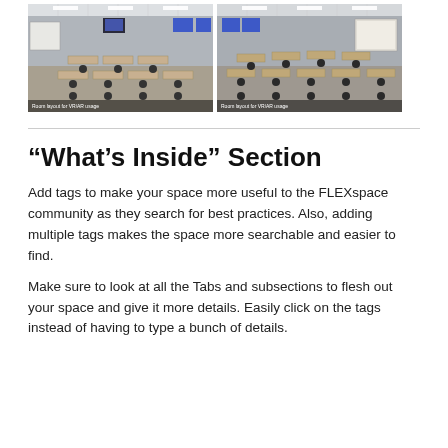[Figure (photo): Classroom with tables and chairs arranged for VR/AR usage, whiteboard visible on left wall, room layout for VR/AR usage caption at bottom]
[Figure (photo): Classroom with tables and chairs arranged for VR/AR usage, projector screen visible on right wall, room layout for VR/AR usage caption at bottom]
“What’s Inside” Section
Add tags to make your space more useful to the FLEXspace community as they search for best practices. Also, adding multiple tags makes the space more searchable and easier to find.
Make sure to look at all the Tabs and subsections to flesh out your space and give it more details. Easily click on the tags instead of having to type a bunch of details.